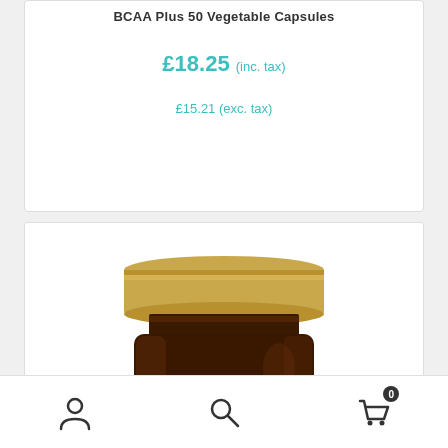BCAA Plus 50 Vegetable Capsules
£18.25 (inc. tax)
£15.21 (exc. tax)
[Figure (photo): Solgar L-Carnitine supplement bottle with gold metal lid, dark amber glass jar, gold label reading SOLGAR Since 1947 L-CARNITINE]
Navigation bar with user account icon, search icon, and shopping cart icon showing 0 items